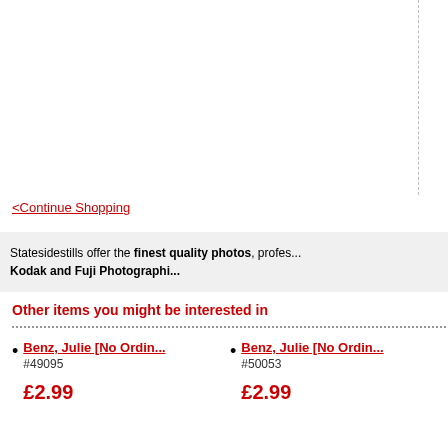<Continue Shopping
Statesidestills offer the finest quality photos, profes... Kodak and Fuji Photographi...
Other items you might be interested in
Benz, Julie [No Ordin... #49095 £2.99
Benz, Julie [No Ordin... #50053 £2.99